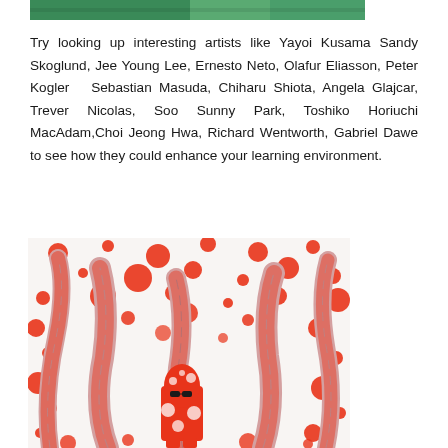[Figure (photo): Top portion of a cropped photo showing an art installation, partially visible at the top of the page]
Try looking up interesting artists like Yayoi Kusama Sandy Skoglund, Jee Young Lee, Ernesto Neto, Olafur Eliasson, Peter Kogler  Sebastian Masuda, Chiharu Shiota, Angela Glajcar, Trever Nicolas, Soo Sunny Park, Toshiko Horiuchi MacAdam,Choi Jeong Hwa, Richard Wentworth, Gabriel Dawe to see how they could enhance your learning environment.
[Figure (photo): A person dressed in a red and white polka-dot costume standing inside a Yayoi Kusama infinity room installation featuring large sculptural tentacle forms and walls covered in red polka dots on white background]